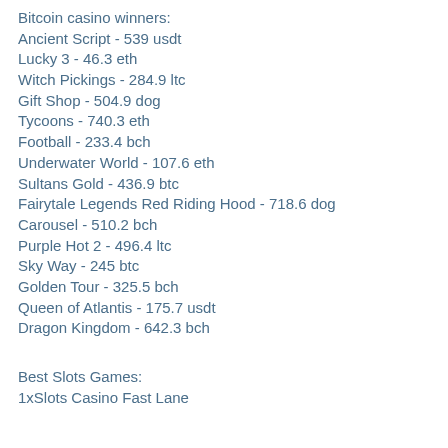Bitcoin casino winners:
Ancient Script - 539 usdt
Lucky 3 - 46.3 eth
Witch Pickings - 284.9 ltc
Gift Shop - 504.9 dog
Tycoons - 740.3 eth
Football - 233.4 bch
Underwater World - 107.6 eth
Sultans Gold - 436.9 btc
Fairytale Legends Red Riding Hood - 718.6 dog
Carousel - 510.2 bch
Purple Hot 2 - 496.4 ltc
Sky Way - 245 btc
Golden Tour - 325.5 bch
Queen of Atlantis - 175.7 usdt
Dragon Kingdom - 642.3 bch
Best Slots Games:
1xSlots Casino Fast Lane